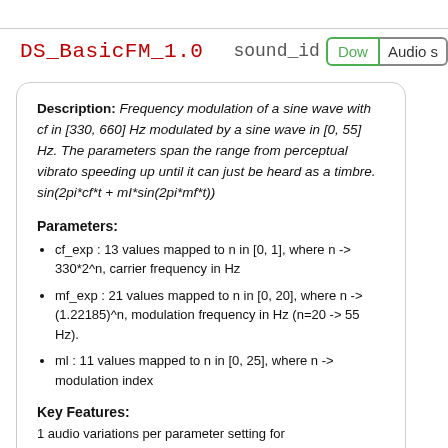DS_BasicFM_1.0
sound_id
Download | Audio s
Description: Frequency modulation of a sine wave with cf in [330, 660] Hz modulated by a sine wave in [0, 55] Hz. The parameters span the range from perceptual vibrato speeding up until it can just be heard as a timbre. sin(2pi*cf*t + mI*sin(2pi*mf*t))
Parameters:
cf_exp : 13 values mapped to n in [0, 1], where n -> 330*2^n, carrier frequency in Hz
mf_exp : 21 values mapped to n in [0, 20], where n -> (1.22185)^n, modulation frequency in Hz (n=20 -> 55 Hz).
ml : 11 values mapped to n in [0, 25], where n -> modulation index
Key Features:
1 audio variations per parameter setting for 3003 Parameters (3003 Files)